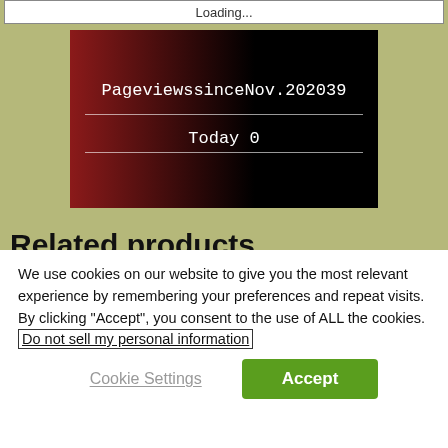Loading...
[Figure (infographic): Pageviews widget with dark red-to-black gradient background showing 'PageviewssinceNov.202039' and 'Today 0' separated by horizontal lines]
Related products
[Figure (photo): Two product thumbnail images side by side — left is a dark reddish image, right is a warm orange-brown image]
We use cookies on our website to give you the most relevant experience by remembering your preferences and repeat visits. By clicking "Accept", you consent to the use of ALL the cookies. Do not sell my personal information
Cookie Settings
Accept